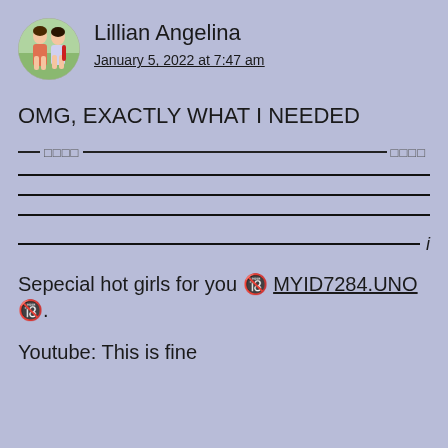[Figure (photo): Circular avatar photo of two girls outdoors]
Lillian Angelina
January 5, 2022 at 7:47 am
OMG, EXACTLY WHAT I NEEDED
[Figure (other): Decorative divider line with emoji blocks]
Sepecial hot girls for you 🔞 MYID7284.UNO 🔞.
Youtube: This is fine